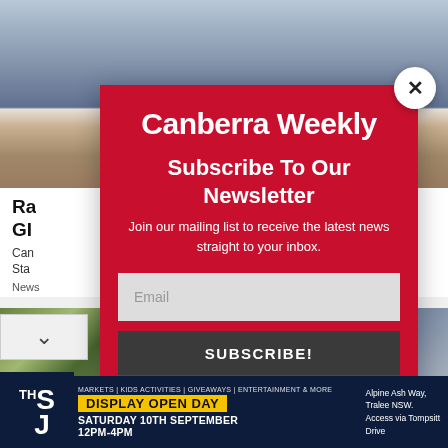[Figure (screenshot): Background webpage showing partial news article with photo of a man, headline about GIO, and secondary article thumbnails]
[Figure (screenshot): Popup modal overlay for Canberra Weekly newsletter subscription with red background, logo, subscribe form with email input and subscribe button, and close (X) button]
Canberra Weekly
Subscribe To Our Newsletter
Join our mailing list to receive the latest news straight to your inbox.
[Figure (screenshot): Bottom advertisement banner for SJ (Sapphire J) with display open day event: Saturday 10th September 12PM-4PM, Alpine Ash Way, Tralee NSW, Access via Tompsitt Drive]